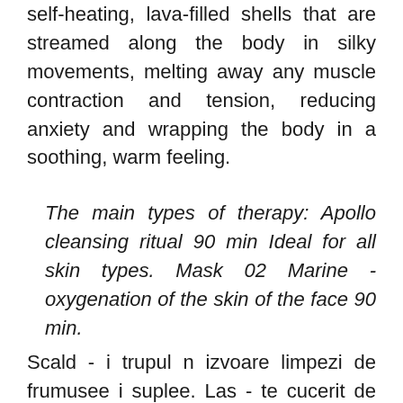self-heating, lava-filled shells that are streamed along the body in silky movements, melting away any muscle contraction and tension, reducing anxiety and wrapping the body in a soothing, warm feeling.
The main types of therapy: Apollo cleansing ritual 90 min Ideal for all skin types. Mask 02 Marine - oxygenation of the skin of the face 90 min.
Scald - i trupul n izvoare limpezi de frumusee i suplee. Las - te cucerit de alchimia ingedientelor active ale algelor marine, ale aurului i diamantelor, produselor organice, purttoare de efecte puternic anti - oxidante i de tonifiere. This combination has a thalgo slimming wrap action: local slimming, firmness and reduction of orange peel look, leaving the skin soft and silky through